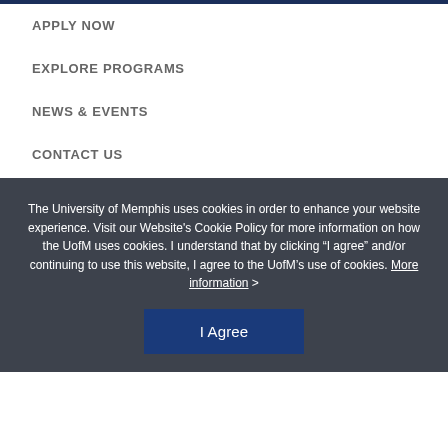APPLY NOW
EXPLORE PROGRAMS
NEWS & EVENTS
CONTACT US
The University of Memphis uses cookies in order to enhance your website experience. Visit our Website's Cookie Policy for more information on how the UofM uses cookies. I understand that by clicking “I agree” and/or continuing to use this website, I agree to the UofM’s use of cookies. More information >
I Agree